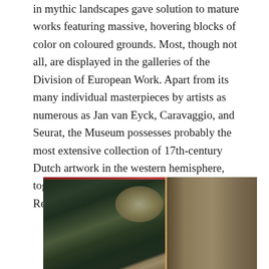in mythic landscapes gave solution to mature works featuring massive, hovering blocks of color on coloured grounds. Most, though not all, are displayed in the galleries of the Division of European Work. Apart from its many individual masterpieces by artists as numerous as Jan van Eyck, Caravaggio, and Seurat, the Museum possesses probably the most extensive collection of 17th-century Dutch artwork in the western hemisphere, together with excellent works by Frans Hals, Rembrandt, and Vermeer.
[Figure (photo): A dark painting depicting a nighttime or deeply shadowed forest landscape scene. The left portion shows dark green and black tones with tree forms and a bright central glow or light source. The right portion is warmer in tone with brownish-tan hues, possibly depicting a wall or interior element separated by a vertical dividing line.]